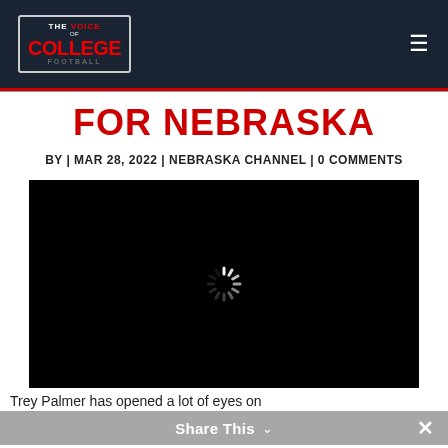The Voice of College Football
FOR NEBRASKA
BY | MAR 28, 2022 | NEBRASKA CHANNEL | 0 COMMENTS
[Figure (screenshot): Black video player with loading spinner in the center]
Trey Palmer has opened a lot of eyes on
Share This